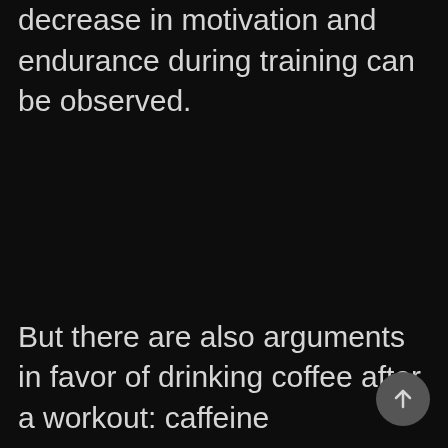decrease in motivation and endurance during training can be observed.
But there are also arguments in favor of drinking coffee after a workout: caffeine